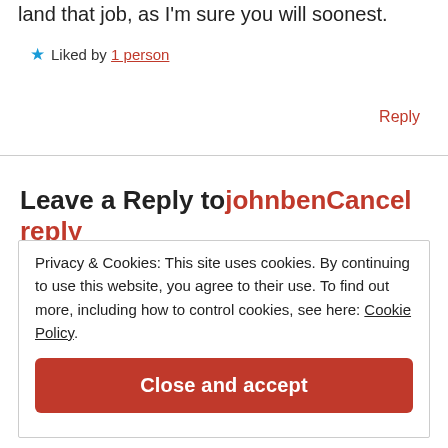land that job, as I'm sure you will soonest.
★ Liked by 1 person
Reply
Leave a Reply to johnben Cancel reply
Privacy & Cookies: This site uses cookies. By continuing to use this website, you agree to their use. To find out more, including how to control cookies, see here: Cookie Policy
Close and accept